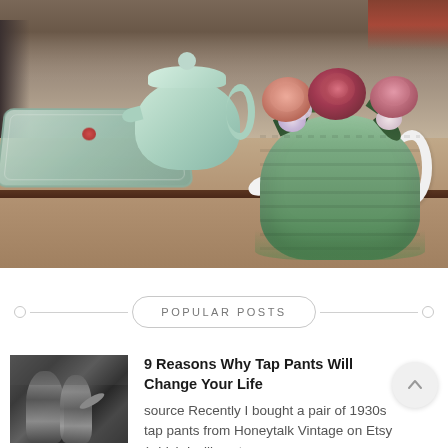[Figure (photo): A white teapot wearing a green crochet tea cozy decorated with pink and dark red crocheted roses and green leaves on top, placed on a table. In the background is a mint green teapot and a mint green tray.]
POPULAR POSTS
[Figure (photo): Small black and white thumbnail photo showing two women in tap pants or shorts, one appearing to dance or gesture.]
9 Reasons Why Tap Pants Will Change Your Life
source Recently I bought a pair of 1930s tap pants from Honeytalk Vintage on Etsy (which I will post